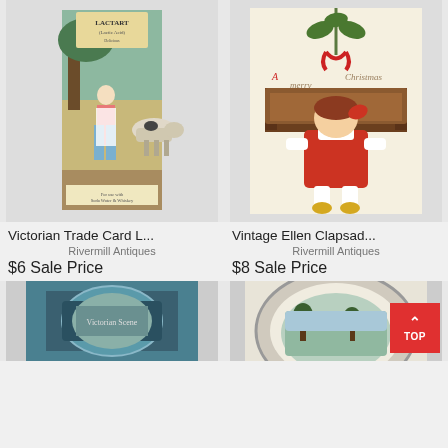[Figure (illustration): Victorian Trade Card showing a milkmaid with a cow and text 'Lactart (Lactic Acid)']
Victorian Trade Card L...
Rivermill Antiques
$6 Sale Price
[Figure (illustration): Vintage Ellen Clapsaddle Christmas postcard showing a girl in red dress sitting on a bench with holiday greenery]
Vintage Ellen Clapsad...
Rivermill Antiques
$8 Sale Price
[Figure (illustration): Partial view of bottom-left product image, appears to be a decorative box or tin with Victorian imagery]
[Figure (illustration): Partial view of bottom-right product image, appears to be a decorative plate or dish with scenic imagery]